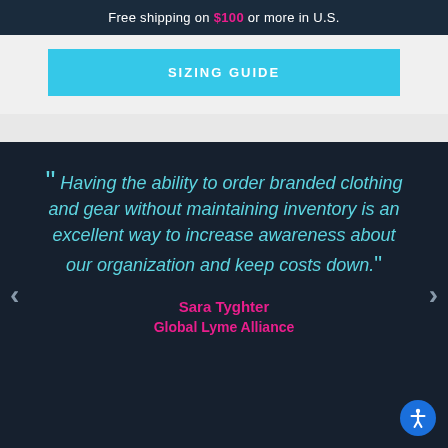Free shipping on $100 or more in U.S.
SIZING GUIDE
" Having the ability to order branded clothing and gear without maintaining inventory is an excellent way to increase awareness about our organization and keep costs down."
Sara Tyghter
Global Lyme Alliance